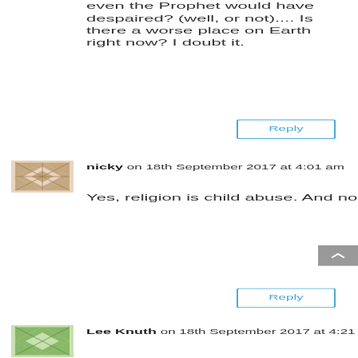even the Prophet would have despaired? (well, or not).... Is there a worse place on Earth right now? I doubt it.
Reply
nicky on 18th September 2017 at 4:01 am
Yes, religion is child abuse. And nobody to comfort him. Sick indeed. Is that a Shia ritual?
Reply
Lee Knuth on 18th September 2017 at 4:21